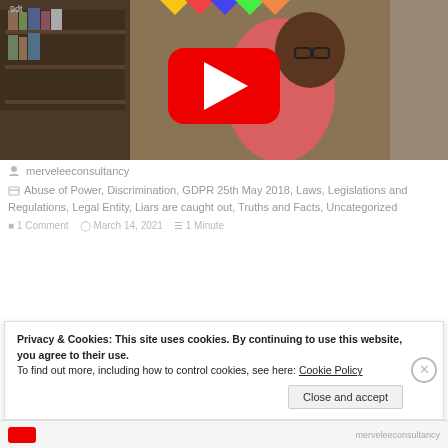[Figure (screenshot): YouTube video thumbnail showing a person in a pink hoodie wearing glasses, sitting in a room with bookshelves. A large red YouTube play button is overlaid in the center.]
merveleeconsultancy
Abuse of Power, Discrimination, GDPR 25th May 2018, Laws, Legislations and Regulations, Legal Entity, Liars are caught out, Truths and Facts, Uncategorized
1 Comment   March 14, 2021   1 Minute
Privacy & Cookies: This site uses cookies. By continuing to use this website, you agree to their use.
To find out more, including how to control cookies, see here: Cookie Policy
Close and accept